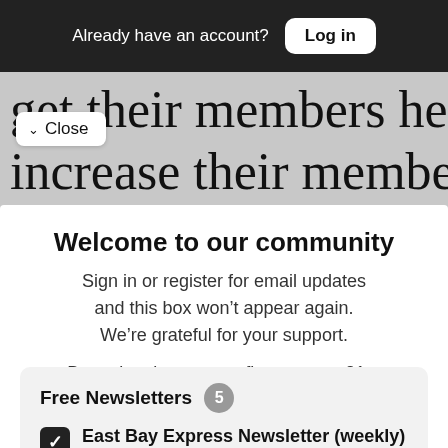Already have an account? Log in
get their members here, so it's a
increase their membership
Close
Welcome to our community
Sign in or register for email updates and this box won't appear again. We're grateful for your support.
By registering you confirm you are 21+.
Free Newsletters 5
East Bay Express Newsletter (weekly)
News stories, arts and dining